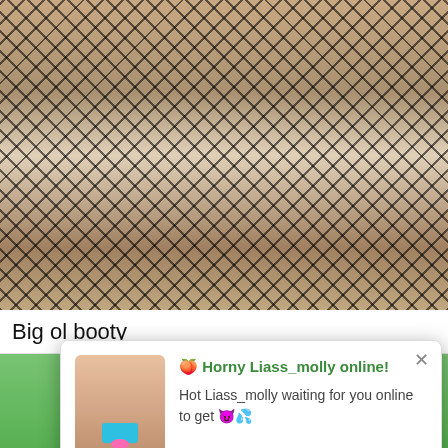[Figure (photo): Photo showing legs in fishnet stockings viewed from above against a concrete background]
Big ol booty
[Figure (screenshot): Popup notification: '🍑 Horny Liass_molly online! Hot Liass_molly waiting for you online to get 😈💦' with JOIN NOW and HOW IT WORKS?🍑 buttons]